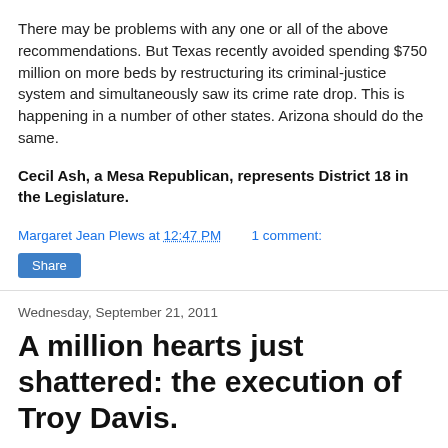There may be problems with any one or all of the above recommendations. But Texas recently avoided spending $750 million on more beds by restructuring its criminal-justice system and simultaneously saw its crime rate drop. This is happening in a number of other states. Arizona should do the same.
Cecil Ash, a Mesa Republican, represents District 18 in the Legislature.
Margaret Jean Plews at 12:47 PM    1 comment:
Share
Wednesday, September 21, 2011
A million hearts just shattered: the execution of Troy Davis.